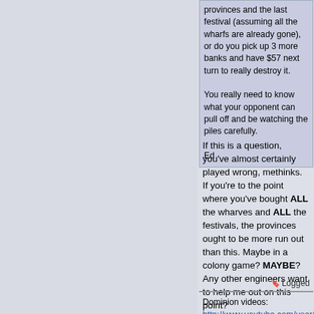provinces and the last festival (assuming all the wharfs are already gone), or do you pick up 3 more banks and have $57 next turn to really destroy it.

You really need to know what your opponent can pull off and be watching the piles carefully.

Ed
If this is a question, you've almost certainly played wrong, methinks. If you're to the point where you've bought ALL the wharves and ALL the festivals, the provinces ought to be more run out than this. Maybe in a colony game? MAYBE? Any other engineers want to help me out on this point?
Logged
Dominion videos:
http://www.youtube.com/user/Wand